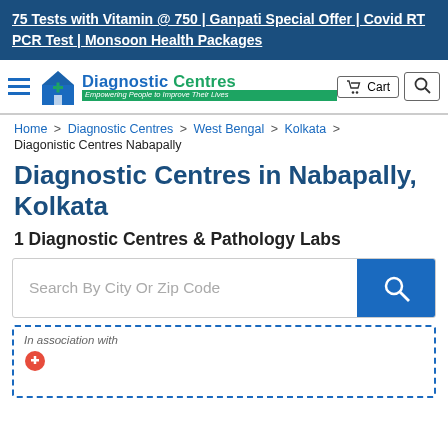75 Tests with Vitamin @ 750 | Ganpati Special Offer | Covid RT PCR Test | Monsoon Health Packages
[Figure (logo): Diagnostic Centres logo with hamburger menu, cart button, and search button in navigation bar]
Home > Diagnostic Centres > West Bengal > Kolkata >
Diagonistic Centres Nabapally
Diagnostic Centres in Nabapally, Kolkata
1 Diagnostic Centres & Pathology Labs
Search By City Or Zip Code
In association with